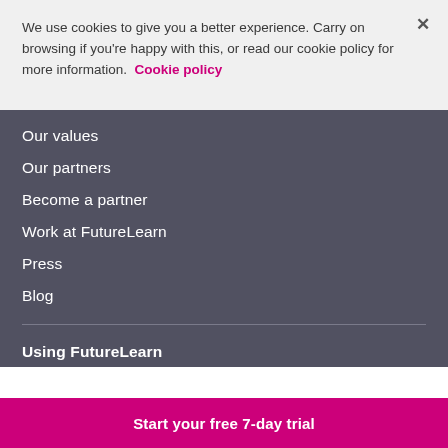We use cookies to give you a better experience. Carry on browsing if you're happy with this, or read our cookie policy for more information. Cookie policy
Our values
Our partners
Become a partner
Work at FutureLearn
Press
Blog
Using FutureLearn
Start your free 7-day trial